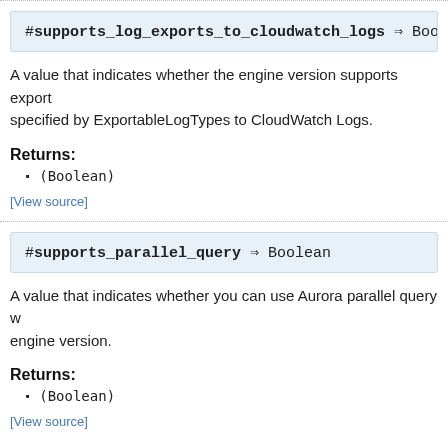#supports_log_exports_to_cloudwatch_logs ⇒ Boolea
A value that indicates whether the engine version supports exports specified by ExportableLogTypes to CloudWatch Logs.
Returns:
(Boolean)
[View source]
#supports_parallel_query ⇒ Boolean
A value that indicates whether you can use Aurora parallel query with this engine version.
Returns:
(Boolean)
[View source]